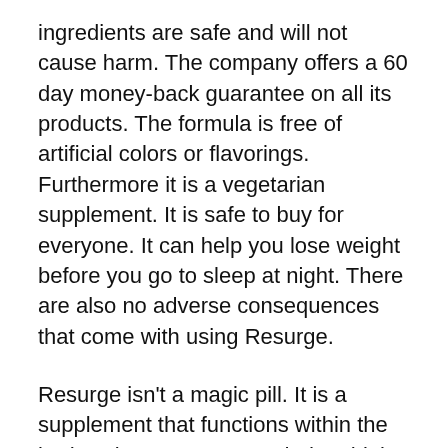ingredients are safe and will not cause harm. The company offers a 60 day money-back guarantee on all its products. The formula is free of artificial colors or flavorings. Furthermore it is a vegetarian supplement. It is safe to buy for everyone. It can help you lose weight before you go to sleep at night. There are also no adverse consequences that come with using Resurge.
Resurge isn't a magic pill. It is a supplement that functions within the body. It is not recommended to think of it as a complete health remedy. It is a supplement that can help with weight loss and overall health. The ingredients are listed on the website. Before you buy, make sure you read them. If you're not sure about the effectiveness of Resurge,